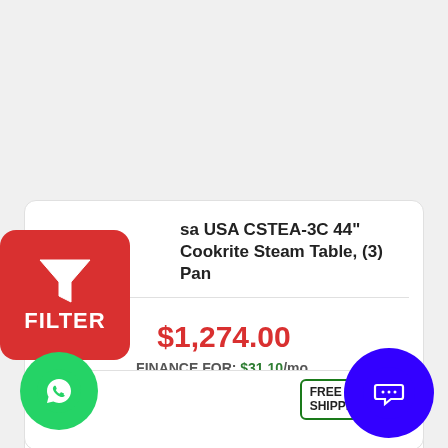[Figure (screenshot): Red FILTER button with funnel icon in top-left]
sa USA CSTEA-3C 44" Cookrite Steam Table, (3) Pan
$1,274.00
FINANCE FOR: $31.10/mo.
1  ADD TO CART
[Figure (infographic): FREE SHIPPING badge with truck icon]
[Figure (logo): WhatsApp green circle button]
[Figure (logo): Blue chat circle button]